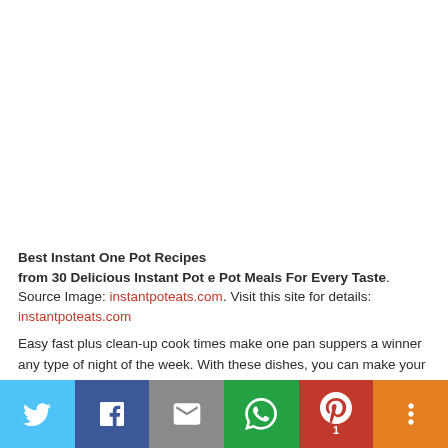[Figure (photo): Blank white image area at the top of the page]
Best Instant One Pot Recipes from 30 Delicious Instant Pot e Pot Meals For Every Taste. Source Image: instantpoteats.com. Visit this site for details: instantpoteats.com
Easy fast plus clean-up cook times make one pan suppers a winner any type of night of the week. With these dishes, you can make your
[Figure (infographic): Social sharing bar with Twitter, Facebook, Email, WhatsApp, Pinterest (with badge 1), and More buttons]